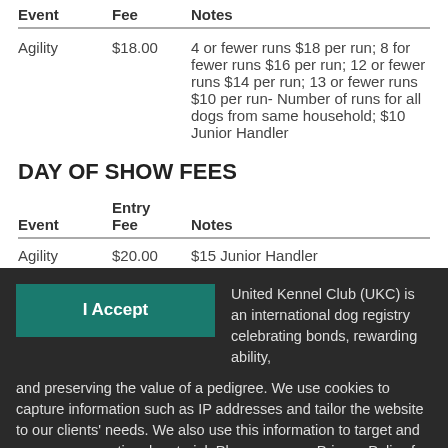| Event | Entry Fee | Notes |
| --- | --- | --- |
| Agility | $18.00 | 4 or fewer runs $18 per run; 8 for fewer runs $16 per run; 12 or fewer runs $14 per run; 13 or fewer runs $10 per run- Number of runs for all dogs from same household; $10 Junior Handler |
DAY OF SHOW FEES
| Event | Entry Fee | Notes |
| --- | --- | --- |
| Agility | $20.00 | $15 Junior Handler |
United Kennel Club (UKC) is an international dog registry celebrating bonds, rewarding ability, and preserving the value of a pedigree. We use cookies to capture information such as IP addresses and tailor the website to our clients' needs. We also use this information to target and measure promotional material. Please see our Privacy Policy for more information.